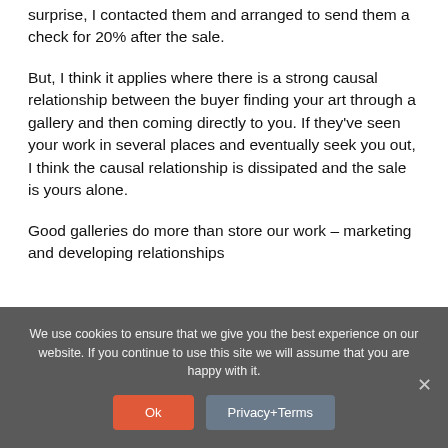surprise, I contacted them and arranged to send them a check for 20% after the sale.
But, I think it applies where there is a strong causal relationship between the buyer finding your art through a gallery and then coming directly to you. If they've seen your work in several places and eventually seek you out, I think the causal relationship is dissipated and the sale is yours alone.
Good galleries do more than store our work – marketing and developing relationships
We use cookies to ensure that we give you the best experience on our website. If you continue to use this site we will assume that you are happy with it.
Ok
Privacy+Terms